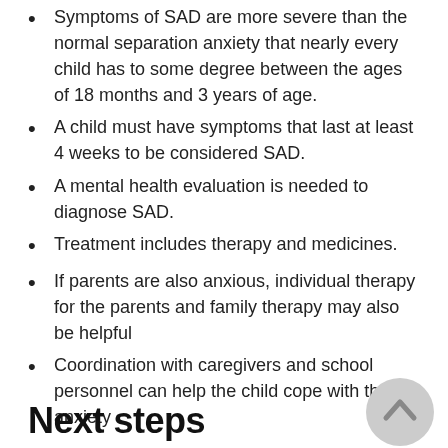Symptoms of SAD are more severe than the normal separation anxiety that nearly every child has to some degree between the ages of 18 months and 3 years of age.
A child must have symptoms that last at least 4 weeks to be considered SAD.
A mental health evaluation is needed to diagnose SAD.
Treatment includes therapy and medicines.
If parents are also anxious, individual therapy for the parents and family therapy may also be helpful
Coordination with caregivers and school personnel can help the child cope with their anxiety
Next steps